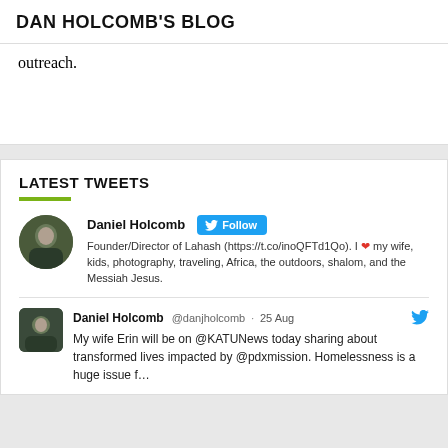DAN HOLCOMB'S BLOG
outreach.
LATEST TWEETS
Daniel Holcomb Follow
Founder/Director of Lahash (https://t.co/inoQFTd1Qo). I ❤ my wife, kids, photography, traveling, Africa, the outdoors, shalom, and the Messiah Jesus.
Daniel Holcomb @danjholcomb · 25 Aug
My wife Erin will be on @KATUNews today sharing about transformed lives impacted by @pdxmission. Homelessness is a huge issue f...